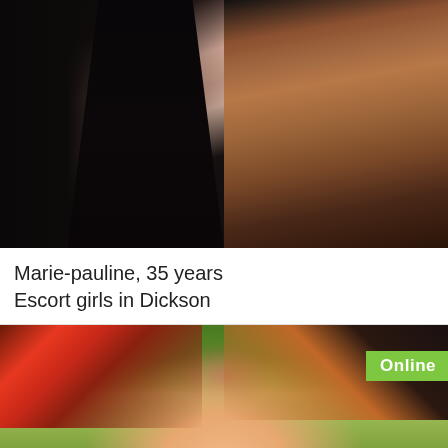[Figure (photo): Two women with long dark hair, wearing low-cut outfits, photo cropped at chest level]
Marie-pauline, 35 years
Escort girls in Dickson
[Figure (photo): Woman with red and dark highlighted hair against green foliage background, with Online badge]
Online